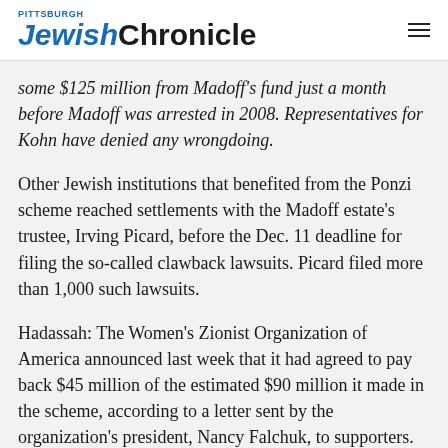Pittsburgh Jewish Chronicle
some $125 million from Madoff's fund just a month before Madoff was arrested in 2008. Representatives for Kohn have denied any wrongdoing.
Other Jewish institutions that benefited from the Ponzi scheme reached settlements with the Madoff estate's trustee, Irving Picard, before the Dec. 11 deadline for filing the so-called clawback lawsuits. Picard filed more than 1,000 such lawsuits.
Hadassah: The Women's Zionist Organization of America announced last week that it had agreed to pay back $45 million of the estimated $90 million it made in the scheme, according to a letter sent by the organization's president, Nancy Falchuk, to supporters.